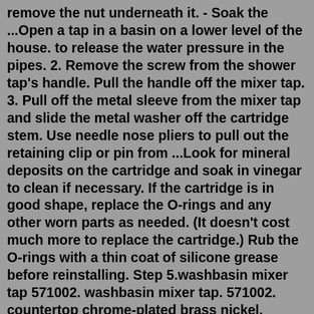remove the nut underneath it. - Soak the ...Open a tap in a basin on a lower level of the house. to release the water pressure in the pipes. 2. Remove the screw from the shower tap's handle. Pull the handle off the mixer tap. 3. Pull off the metal sleeve from the mixer tap and slide the metal washer off the cartridge stem. Use needle nose pliers to pull out the retaining clip or pin from ...Look for mineral deposits on the cartridge and soak in vinegar to clean if necessary. If the cartridge is in good shape, replace the O-rings and any other worn parts as needed. (It doesn't cost much more to replace the cartridge.) Rub the O-rings with a thin coat of silicone grease before reinstalling. Step 5.washbasin mixer tap 571002. washbasin mixer tap. 571002. countertop chrome-plated brass nickel. Contact. Washbasin mixer size L, chromed Diamond Finish, S2 system for 50% water saving, temperature limiter, and patented anticorrosion system. Ø35mm ceramic mixer tap cartridge Termostop ...This Valve Removal Tool is for removing the old SP3308 Valve